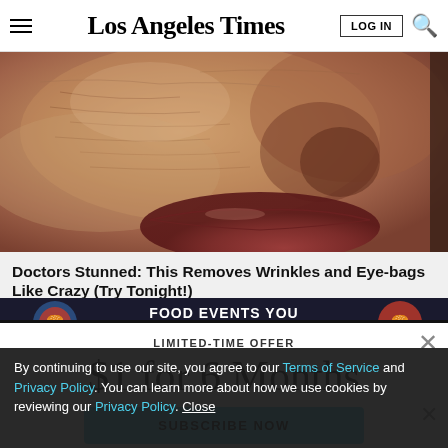Los Angeles Times
[Figure (photo): Close-up macro photo of human skin showing wrinkles and texture near the nose and lip area]
Doctors Stunned: This Removes Wrinkles and Eye-bags Like Crazy (Try Tonight!)
TRENDING STORIES
LIMITED-TIME OFFER
$1 for 6 Months
SUBSCRIBE NOW
By continuing to use our site, you agree to our Terms of Service and Privacy Policy. You can learn more about how we use cookies by reviewing our Privacy Policy. Close
[Figure (infographic): Ad banner showing FOOD EVENTS YOU WANT TO MISS text with food icons]
FOOD EVENTS YOU WANT TO MISS